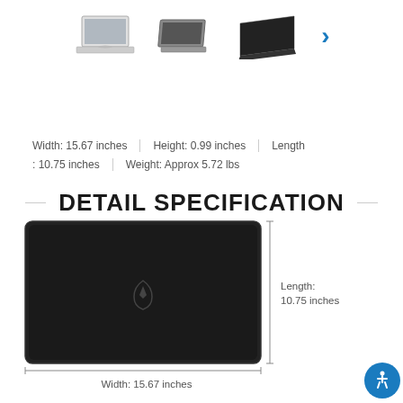[Figure (photo): Three laptop thumbnail images in a row with a blue right chevron arrow for navigation]
DETAIL SPECIFICATION
Width: 15.67 inches | Height: 0.99 inches | Length : 10.75 inches | Weight: Approx 5.72 lbs
[Figure (photo): Top-down view of black MSI laptop showing dimensions with bracket lines. Width: 15.67 inches labeled below, Length: 10.75 inches labeled to the right.]
Width: 15.67 inches
Length: 10.75 inches